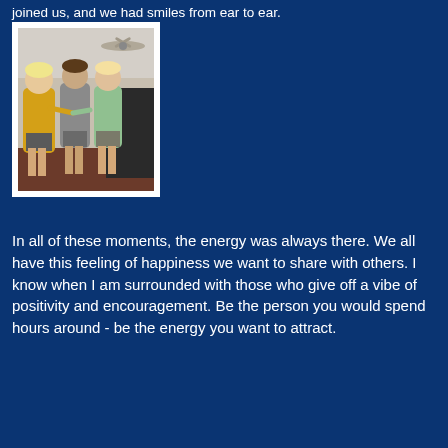joined us, and we had smiles from ear to ear.
[Figure (photo): Three people in a gym or home exercise room. One person on the left wearing a yellow hoodie, one in the middle wearing a gray shirt, and one on the right wearing a light green shirt. They appear to be interacting cheerfully. A ceiling fan is visible in the background.]
In all of these moments, the energy was always there. We all have this feeling of happiness we want to share with others. I know when I am surrounded with those who give off a vibe of positivity and encouragement. Be the person you would spend hours around - be the energy you want to attract.